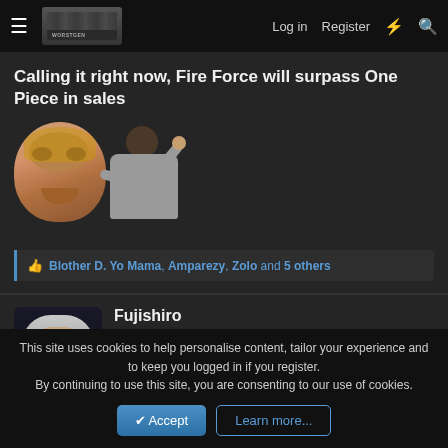Log in  Register
Calling it right now, Fire Force will surpass One Piece in sales
[Figure (photo): Two meme reaction images: a close-up face and a person with arms raised]
Blother D. Yo Mama, Amparezy, Zolo and 5 others
Fujishiro
Fire and Blood
[Figure (illustration): Anime/game character with white hair and gold shoulder armor]
[Figure (illustration): Manga panel of a character with dark hair and a cross mark on face]
This site uses cookies to help personalise content, tailor your experience and to keep you logged in if you register.
By continuing to use this site, you are consenting to our use of cookies.
Accept  Learn more...